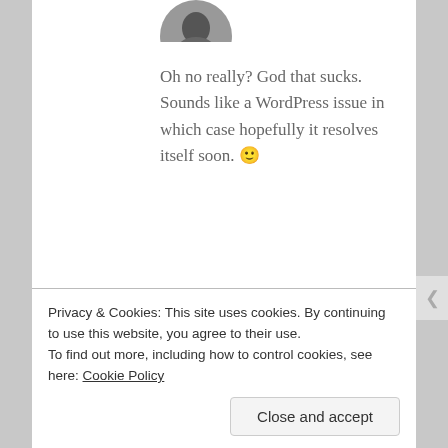[Figure (photo): Partial view of a circular avatar image at the top of the page (cropped at page edge)]
Oh no really? God that sucks.
Sounds like a WordPress issue in which case hopefully it resolves itself soon. 🙂
★ Like
Reply
[Figure (photo): Circular avatar of Lauren Busser with teal/cyan background, woman with dark hair]
Lauren Busser
SEPTEMBER 8, 2017 AT 7:54 PM
Privacy & Cookies: This site uses cookies. By continuing to use this website, you agree to their use.
To find out more, including how to control cookies, see here: Cookie Policy
Close and accept